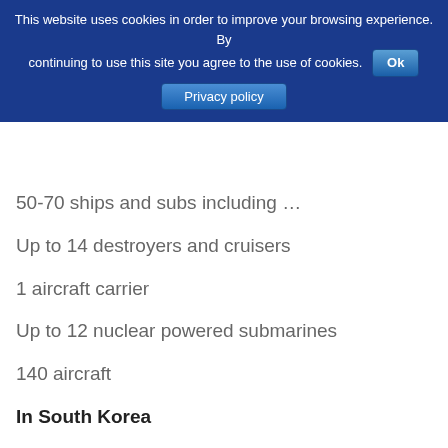This website uses cookies in order to improve your browsing experience. By continuing to use this site you agree to the use of cookies. Ok
Privacy policy
50-70 ships and subs including …
Up to 14 destroyers and cruisers
1 aircraft carrier
Up to 12 nuclear powered submarines
140 aircraft
In South Korea
23,468 personnel
300+ tanks